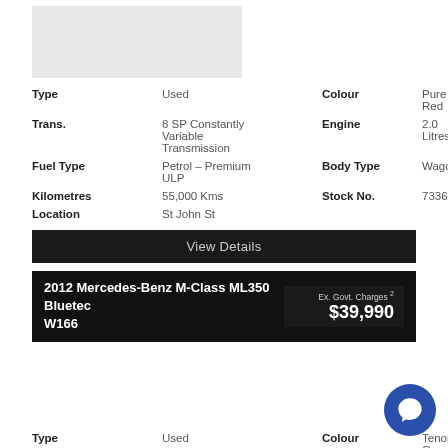[Figure (photo): Car image placeholder (light grey box)]
| Type | Used | Colour | Pure Red |
| Trans. | 8 SP Constantly Variable Transmission | Engine | 2.0 Litres |
| Fuel Type | Petrol – Premium ULP | Body Type | Wagon |
| Kilometres | 55,000 Kms | Stock No. | 73368 |
| Location | St John St |  |  |
View Details
2012 Mercedes-Benz M-Class ML350 Bluetec W166
Ex. Govt. Charges 2 $39,990
[Figure (photo): Car image area (white/blank)]
| Type | Used | Colour | Tenorite Gre... |
| Trans. | 7 SP Sports Automatic | Engine | 3.0 Litres |